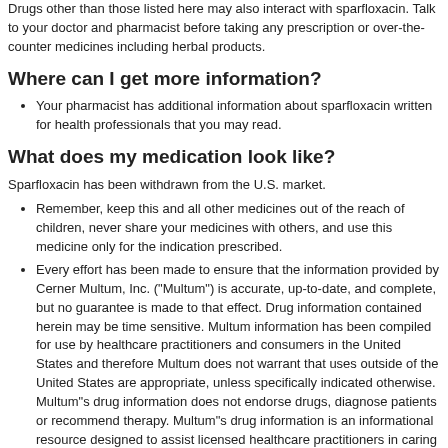Drugs other than those listed here may also interact with sparfloxacin. Talk to your doctor and pharmacist before taking any prescription or over-the-counter medicines including herbal products.
Where can I get more information?
Your pharmacist has additional information about sparfloxacin written for health professionals that you may read.
What does my medication look like?
Sparfloxacin has been withdrawn from the U.S. market.
Remember, keep this and all other medicines out of the reach of children, never share your medicines with others, and use this medicine only for the indication prescribed.
Every effort has been made to ensure that the information provided by Cerner Multum, Inc. ("Multum") is accurate, up-to-date, and complete, but no guarantee is made to that effect. Drug information contained herein may be time sensitive. Multum information has been compiled for use by healthcare practitioners and consumers in the United States and therefore Multum does not warrant that uses outside of the United States are appropriate, unless specifically indicated otherwise. Multum"s drug information does not endorse drugs, diagnose patients or recommend therapy. Multum"s drug information is an informational resource designed to assist licensed healthcare practitioners in caring for their patients and/or to serve consumers viewing this service as a supplement to, and not a substitute for, the expertise, skill, knowledge and judgment of healthcare practitioners. The absence of a warning for a given drug or drug combination in no way should be construed to indicate that the drug or drug combination is safe, effective or appropriate.